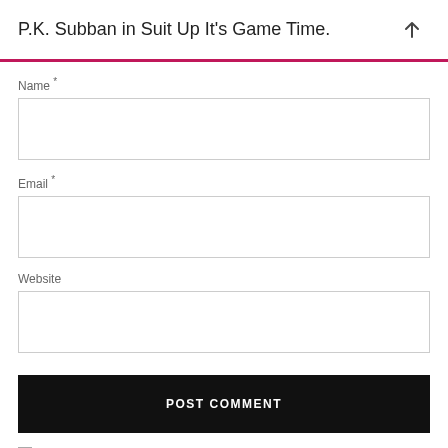P.K. Subban in Suit Up It's Game Time.
Name *
Email *
Website
POST COMMENT
Notify me of new comments via email.